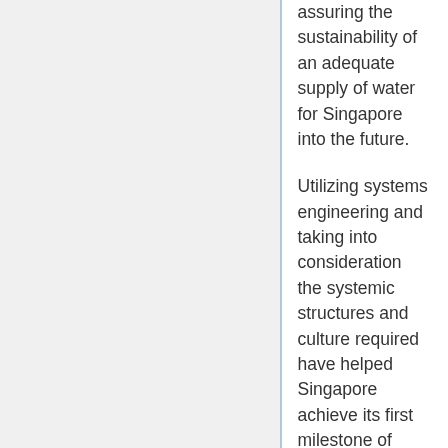assuring the sustainability of an adequate supply of water for Singapore into the future.
Utilizing systems engineering and taking into consideration the systemic structures and culture required have helped Singapore achieve its first milestone of supplying its own water resources by 2010. Singapore has been able to overcome the shortfall that would have come about with the expiry of the first water agreement with